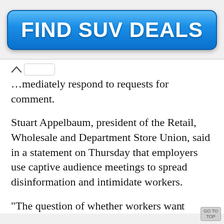[Figure (screenshot): Blue rounded button advertisement with bold white text reading 'FIND SUV DEALS']
…immediately respond to requests for comment.
Stuart Appelbaum, president of the Retail, Wholesale and Department Store Union, said in a statement on Thursday that employers use captive audience meetings to spread disinformation and intimidate workers.
“The question of whether workers wa...